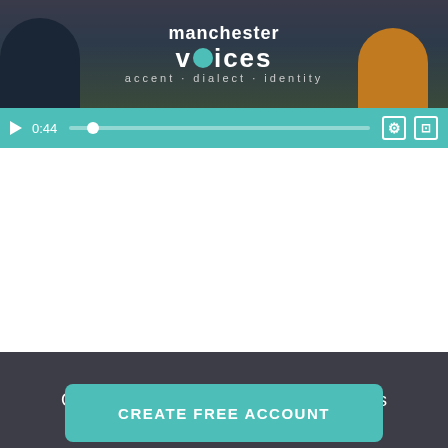[Figure (screenshot): Video player showing Manchester Voices (accent-dialect-identity) course intro video, paused at 0:44, with teal controls bar]
Description
About the Course
In this course, Dr Chris Montgomery (University of Sheffield) explores accent and dialect variation, and also attitudes to accent and dialect. In the first module, we will introduce some of the key terms associated with accent and dialect, such as 'accent', 'dialect', 'idiolect'. After that, in the second module, we
Get instant access to over 4,000 lectures
CREATE FREE ACCOUNT